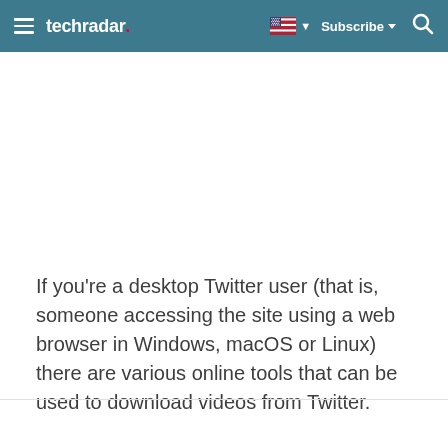techradar
If you're a desktop Twitter user (that is, someone accessing the site using a web browser in Windows, macOS or Linux) there are various online tools that can be used to download videos from Twitter.